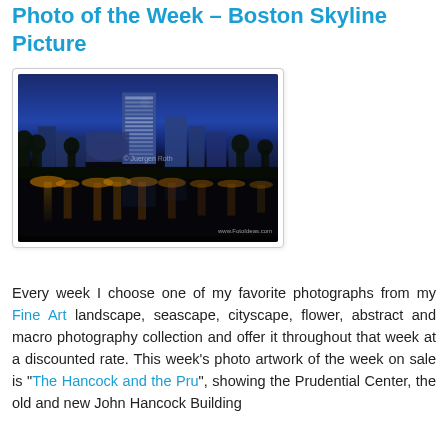Photo of the Week – Boston Skyline Picture
[Figure (photo): Night panoramic photo of the Boston skyline reflected in water, showing city buildings lit up at dusk/night with golden reflections on the water. Watermarks: '© Juergen Roth' and 'www.FotoIdeas.com']
Every week I choose one of my favorite photographs from my Fine Art landscape, seascape, cityscape, flower, abstract and macro photography collection and offer it throughout that week at a discounted rate. This week's photo artwork of the week on sale is "The Hancock and the Pru", showing the Prudential Center, the old and new John Hancock Building